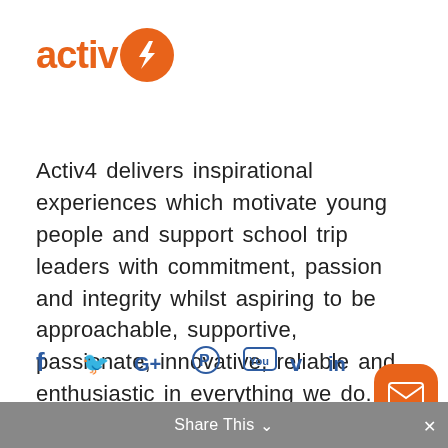[Figure (logo): Activ4 logo: orange text 'activ' followed by orange circle with white stylized '4' symbol]
Activ4 delivers inspirational experiences which motivate young people and support school trip leaders with commitment, passion and integrity whilst aspiring to be approachable, supportive, passionate, innovative, reliable and enthusiastic in everything we do.
[Figure (other): Social media icons row: Facebook (f), Twitter (bird), Google+ (G+), Pinterest (P), YouTube (tube), Vimeo (V), LinkedIn (in)]
Share This ∨